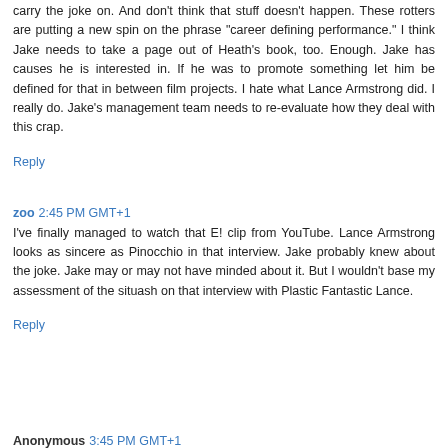carry the joke on. And don't think that stuff doesn't happen. These rotters are putting a new spin on the phrase "career defining performance." I think Jake needs to take a page out of Heath's book, too. Enough. Jake has causes he is interested in. If he was to promote something let him be defined for that in between film projects. I hate what Lance Armstrong did. I really do. Jake's management team needs to re-evaluate how they deal with this crap.
Reply
zoo  2:45 PM GMT+1
I've finally managed to watch that E! clip from YouTube. Lance Armstrong looks as sincere as Pinocchio in that interview. Jake probably knew about the joke. Jake may or may not have minded about it. But I wouldn't base my assessment of the situash on that interview with Plastic Fantastic Lance.
Reply
Anonymous  3:45 PM GMT+1